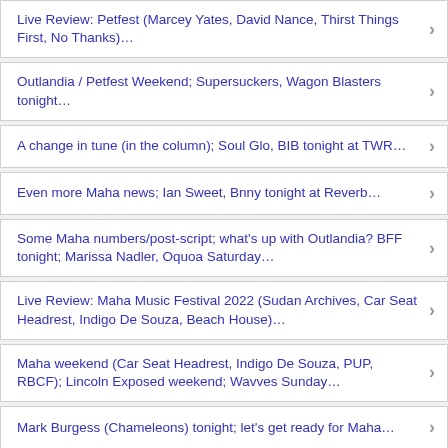Live Review: Petfest (Marcey Yates, David Nance, Thirst Things First, No Thanks)…
Outlandia / Petfest Weekend; Supersuckers, Wagon Blasters tonight…
A change in tune (in the column); Soul Glo, BIB tonight at TWR…
Even more Maha news; Ian Sweet, Bnny tonight at Reverb…
Some Maha numbers/post-script; what's up with Outlandia? BFF tonight; Marissa Nadler, Oquoa Saturday…
Live Review: Maha Music Festival 2022 (Sudan Archives, Car Seat Headrest, Indigo De Souza, Beach House)…
Maha weekend (Car Seat Headrest, Indigo De Souza, PUP, RBCF); Lincoln Exposed weekend; Wavves Sunday…
Mark Burgess (Chameleons) tonight; let's get ready for Maha…